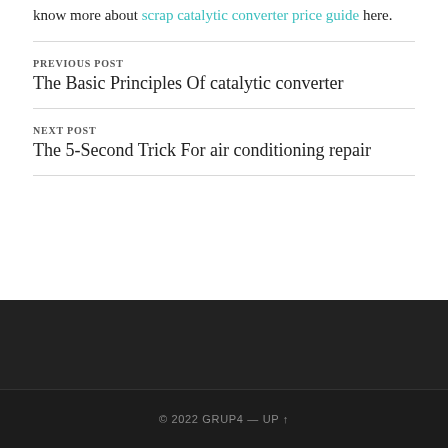know more about scrap catalytic converter price guide here.
PREVIOUS POST
The Basic Principles Of catalytic converter
NEXT POST
The 5-Second Trick For air conditioning repair
© 2022 GRUP4 — UP ↑